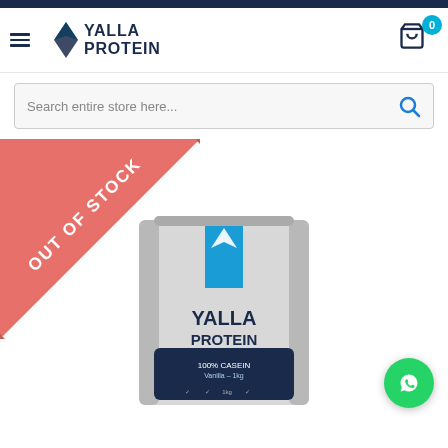Yalla Protein - Navigation header with logo, hamburger menu, and cart
Search entire store here...
[Figure (screenshot): E-commerce product page for Yalla Protein showing an out-of-stock 100% Casein Vanilla 1kg product bag with an Out of Stock ribbon banner in the top left corner. A WhatsApp chat button appears in the bottom right.]